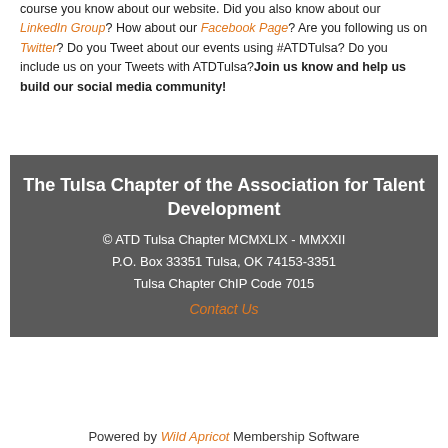course you know about our website. Did you also know about our LinkedIn Group? How about our Facebook Page? Are you following us on Twitter? Do you Tweet about our events using #ATDTulsa? Do you include us on your Tweets with ATDTulsa?Join us know and help us build our social media community!
The Tulsa Chapter of the Association for Talent Development
© ATD Tulsa Chapter MCMXLIX - MMXXII
P.O. Box 33351 Tulsa, OK 74153-3351
Tulsa Chapter ChIP Code 7015
Contact Us
Powered by Wild Apricot Membership Software